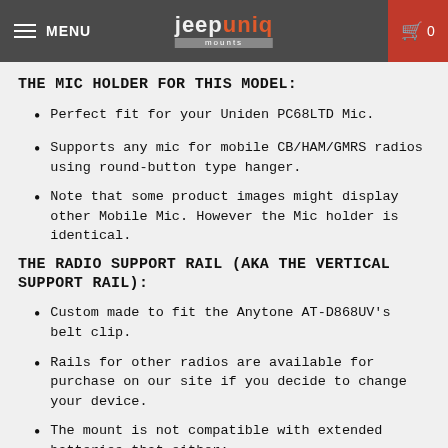MENU | jeepuniq mounts | 0
THE MIC HOLDER FOR THIS MODEL:
Perfect fit for your Uniden PC68LTD Mic.
Supports any mic for mobile CB/HAM/GMRS radios using round-button type hanger.
Note that some product images might display other Mobile Mic. However the Mic holder is identical.
THE RADIO SUPPORT RAIL (AKA THE VERTICAL SUPPORT RAIL):
Custom made to fit the Anytone AT-D868UV's belt clip.
Rails for other radios are available for purchase on our site if you decide to change your device.
The mount is not compatible with extended batteries that either: